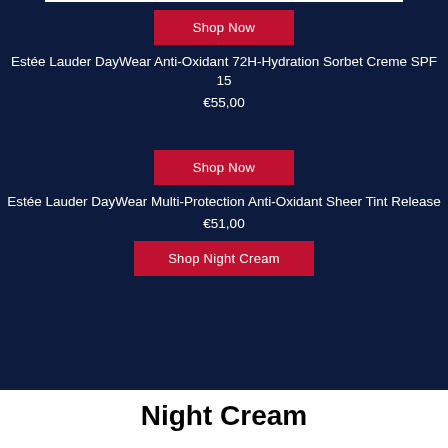[Figure (other): Red Shop Now button on dark navy background]
Estée Lauder DayWear Anti-Oxidant 72H-Hydration Sorbet Creme SPF 15
€55,00
[Figure (other): Red Shop Now button on dark navy background]
Estée Lauder DayWear Multi-Protection Anti-Oxidant Sheer Tint Release
€51,00
[Figure (other): Red Shop Night Cream button]
Night Cream